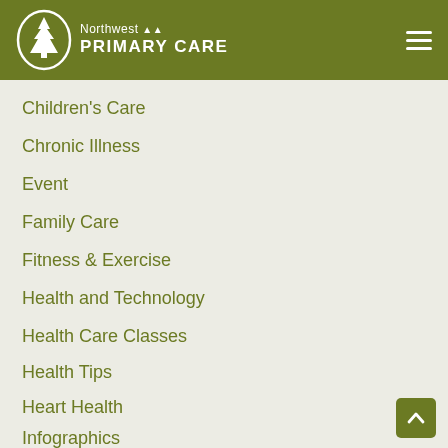Northwest Primary Care
Children's Care
Chronic Illness
Event
Family Care
Fitness & Exercise
Health and Technology
Health Care Classes
Health Tips
Heart Health
Infographics
Insurance